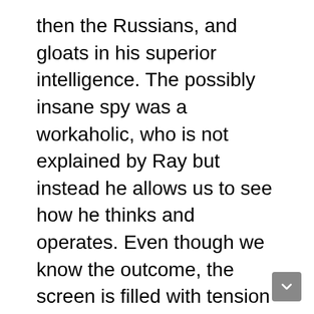then the Russians, and gloats in his superior intelligence. The possibly insane spy was a workaholic, who is not explained by Ray but instead he allows us to see how he thinks and operates. Even though we know the outcome, the screen is filled with tension thanks in no small part to Cooper's bravura performance and the nervous innocent one by Phillippe–who everyone in the FBI talks down to and considers to be merely a lightweight. Cooper makes his character unsympathetic but someone who arouses our curiosity. Phillippe makes his character believable as someone who is lost in the FBI bureaucracy and though ambitious has a change of heart about the FBI as a career choice. We never learn why Hanssen became a spy or even why this uptight WASP, who rails against everything modern and is homophobic, would use the code name of Ramon Garcia when dealing with the Russians. What we do learn is how treacherous he is and that he has probably done more harm to this country than any other individual ever has, and